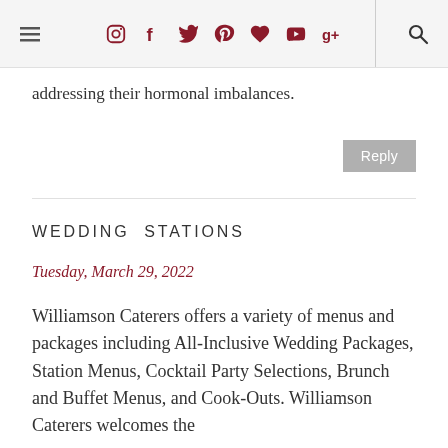Navigation bar with hamburger menu, social icons (Instagram, Facebook, Twitter, Pinterest, heart, YouTube, Google+), and search icon
addressing their hormonal imbalances.
Reply
WEDDING STATIONS
Tuesday, March 29, 2022
Williamson Caterers offers a variety of menus and packages including All-Inclusive Wedding Packages, Station Menus, Cocktail Party Selections, Brunch and Buffet Menus, and Cook-Outs. Williamson Caterers welcomes the